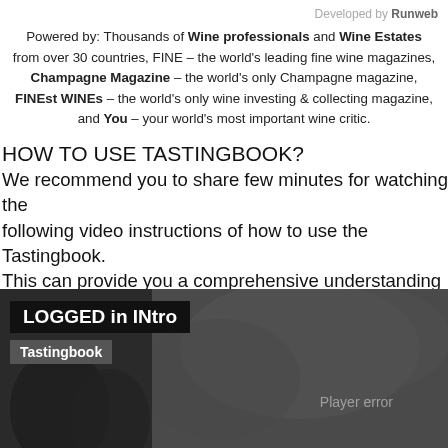Developed by Runweb
Powered by: Thousands of Wine professionals and Wine Estates from over 30 countries, FINE – the world's leading fine wine magazines, Champagne Magazine – the world's only Champagne magazine, FINEst WINEs – the world's only wine investing & collecting magazine, and You – your world's most important wine critic.
HOW TO USE TASTINGBOOK?
We recommend you to share few minutes for watching the following video instructions of how to use the Tastingbook. This can provide you a comprehensive understanding of all the features you can find from this unique service platform. This video will help you get started
[Figure (screenshot): Video player screenshot showing a dark/outdoors background with overlay labels 'LOGGED in INtro' and 'Tastingbook', and a 'Player error' message in the lower right area.]